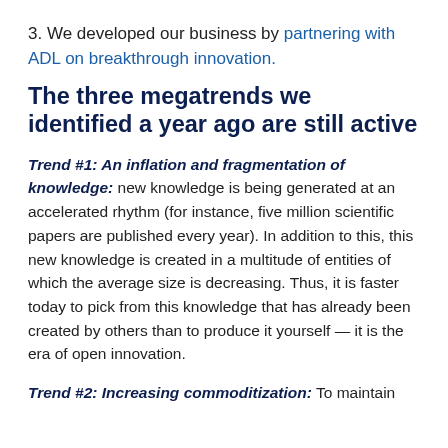3. We developed our business by partnering with ADL on breakthrough innovation.
The three megatrends we identified a year ago are still active
Trend #1: An inflation and fragmentation of knowledge: new knowledge is being generated at an accelerated rhythm (for instance, five million scientific papers are published every year). In addition to this, this new knowledge is created in a multitude of entities of which the average size is decreasing. Thus, it is faster today to pick from this knowledge that has already been created by others than to produce it yourself — it is the era of open innovation.
Trend #2: Increasing commoditization: To maintain